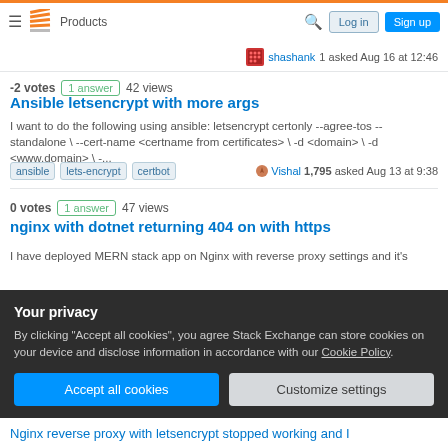Stack Overflow navigation bar with Products, Log in, Sign up
shashank 1 asked Aug 16 at 12:46
-2 votes  1 answer  42 views
Ansible letsencrypt with more args
I want to do the following using ansible: letsencrypt certonly --agree-tos --standalone \ --cert-name <certname from certificates> \ -d <domain> \ -d <www.domain> \ -...
ansible
lets-encrypt
certbot
Vishal 1,795 asked Aug 13 at 9:38
0 votes  1 answer  47 views
nginx with dotnet returning 404 on with https
I have deployed MERN stack app on Nginx with reverse proxy settings and it's
Your privacy
By clicking "Accept all cookies", you agree Stack Exchange can store cookies on your device and disclose information in accordance with our Cookie Policy.
Accept all cookies
Customize settings
Nginx reverse proxy with letsencrypt stopped working and I